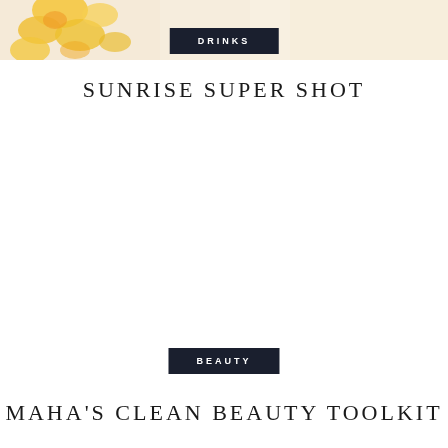[Figure (photo): Partial top-edge photo showing yellow flowers/citrus and a cream/beige background]
DRINKS
SUNRISE SUPER SHOT
BEAUTY
MAHA'S CLEAN BEAUTY TOOLKIT